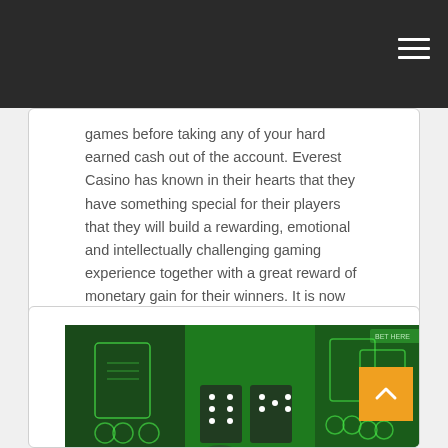games before taking any of your hard earned cash out of the account. Everest Casino has known in their hearts that they have something special for their players that they will build a rewarding, emotional and intellectually challenging gaming experience together with a great reward of monetary gain for their winners. It is now becoming a reality. People are gaming and winning money everyday with Everest Casino's real money games. You can be one of them.
[Figure (photo): Casino card game table seen from above with glowing green felt surface, showing playing cards and chips on multiple tablet or mobile screens. An orange back-to-top arrow button overlays the bottom-right of the image.]